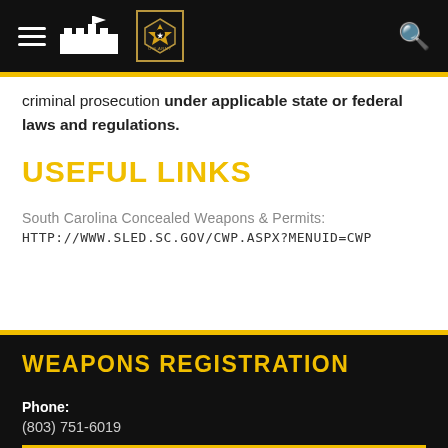Navigation bar with hamburger menu, fort logo, US Army badge, and search icon
criminal prosecution under applicable state or federal laws and regulations.
USEFUL LINKS
South Carolina Concealed Weapons & Permits:
HTTP://WWW.SLED.SC.GOV/CWP.ASPX?MenuID=CWP
WEAPONS REGISTRATION
Phone:
(803) 751-6019